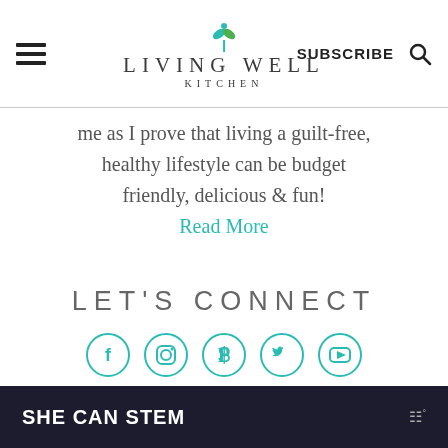LIVING WELL KITCHEN — SUBSCRIBE
me as I prove that living a guilt-free, healthy lifestyle can be budget friendly, delicious & fun!
Read More
LET'S CONNECT
[Figure (infographic): Five social media icon circles in teal outline: Facebook, Instagram, Pinterest, Twitter, YouTube]
SHE CAN STEM